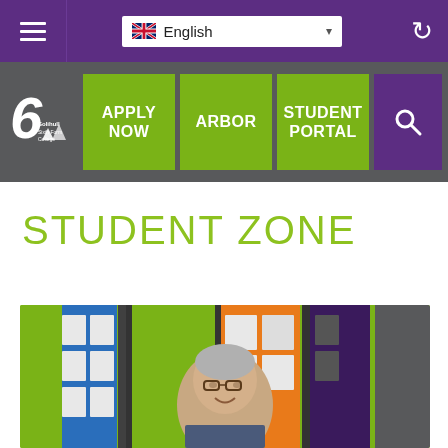Navigation header with hamburger menu, English language selector, and refresh button
[Figure (screenshot): Solihull Sixth Form College navigation bar with logo, APPLY NOW, ARBOR, STUDENT PORTAL buttons in olive green, and search icon in purple]
STUDENT ZONE
[Figure (photo): A smiling man with grey hair and glasses standing in front of a colourful modern building facade with green, blue, orange and purple panels]